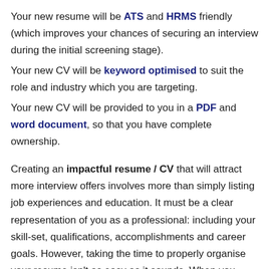Your new resume will be ATS and HRMS friendly (which improves your chances of securing an interview during the initial screening stage).
Your new CV will be keyword optimised to suit the role and industry which you are targeting.
Your new CV will be provided to you in a PDF and word document, so that you have complete ownership.
Creating an impactful resume / CV that will attract more interview offers involves more than simply listing job experiences and education. It must be a clear representation of you as a professional: including your skill-set, qualifications, accomplishments and career goals. However, taking the time to properly organise your resume isn't as easy as it sounds. When you write your